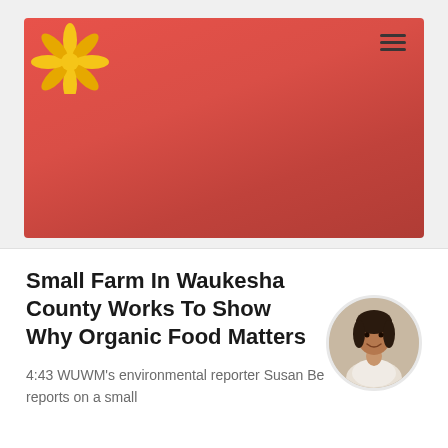[Figure (photo): Red/salmon gradient hero image area with a flower logo in the top-left and a hamburger menu icon in the top-right]
Small Farm In Waukesha County Works To Show Why Organic Food Matters
[Figure (photo): Circular author headshot of Susan Bence, a woman with dark hair, smiling]
4:43 WUWM's environmental reporter Susan Bence reports on a small